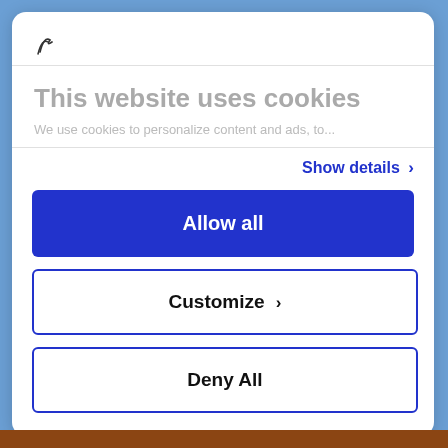[Figure (logo): Small hand-drawn style logo mark in top left of cookie consent dialog]
This website uses cookies
We use cookies to personalize content and ads, to...
Show details >
Allow all
Customize >
Deny All
Powered by Cookiebot by Usercentrics